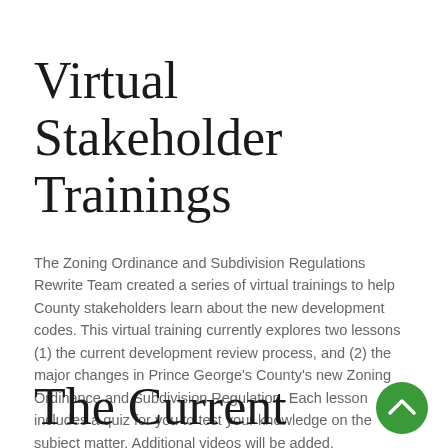Virtual Stakeholder Trainings
The Zoning Ordinance and Subdivision Regulations Rewrite Team created a series of virtual trainings to help County stakeholders learn about the new development codes. This virtual training currently explores two lessons (1) the current development review process, and (2) the major changes in Prince George's County's new Zoning Ordinance and Subdivision Regulation. Each lesson includes a quiz for you to test your knowledge on the subject matter. Additional videos will be added.
The Current